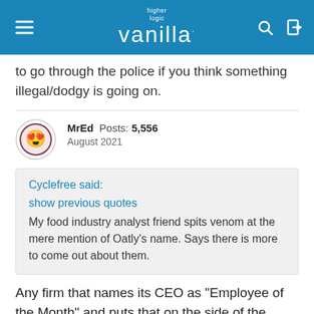higher logic vanilla
to go through the police if you think something illegal/dodgy is going on.
MrEd  Posts: 5,556  August 2021
Cyclefree said:
show previous quotes
My food industry analyst friend spits venom at the mere mention of Oatly's name. Says there is more to come out about them.
Any firm that names its CEO as "Employee of the Month" and puts that on the side of the carton is bound to be dubious